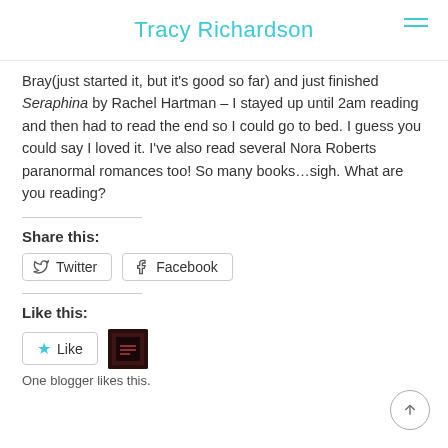Tracy Richardson
Bray(just started it, but it's good so far) and just finished Seraphina by Rachel Hartman – I stayed up until 2am reading and then had to read the end so I could go to bed. I guess you could say I loved it. I've also read several Nora Roberts paranormal romances too! So many books…sigh. What are you reading?
Share this:
Twitter  Facebook
Like this:
Like
One blogger likes this.